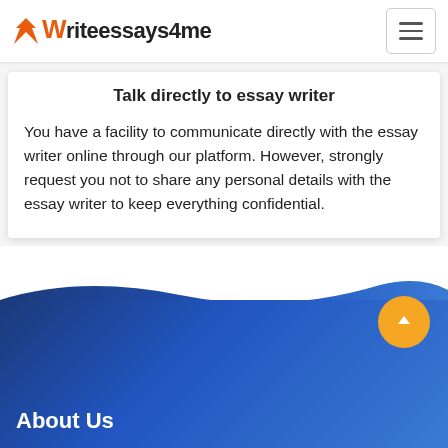Writeessays4me
Talk directly to essay writer
You have a facility to communicate directly with the essay writer online through our platform. However, strongly request you not to share any personal details with the essay writer to keep everything confidential.
About Us